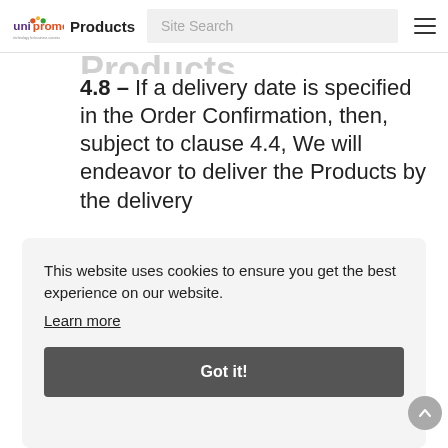unipromo Products | Site Search
4.8 – If a delivery date is specified in the Order Confirmation, then, subject to clause 4.4, We will endeavor to deliver the Products by the delivery date. If a delivery date is
This website uses cookies to ensure you get the best experience on our website. Learn more
Got it!